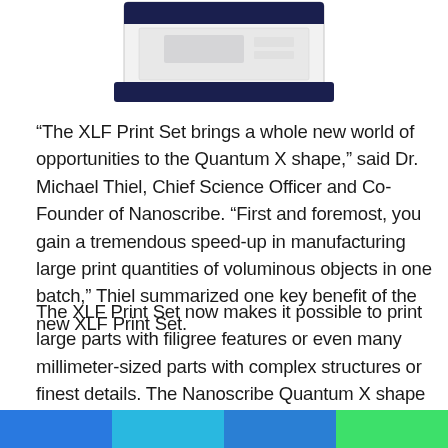[Figure (photo): Top portion of a Nanoscribe Quantum X shape 3D printer — a white and dark navy blue boxy machine unit photographed against a white background]
“The XLF Print Set brings a whole new world of opportunities to the Quantum X shape,” said Dr. Michael Thiel, Chief Science Officer and Co-Founder of Nanoscribe. “First and foremost, you gain a tremendous speed-up in manufacturing large print quantities of voluminous objects in one batch,” Thiel summarized one key benefit of the new XLF Print Set.
The XLF Print Set now makes it possible to print large parts with filigree features or even many millimeter-sized parts with complex structures or finest details. The Nanoscribe Quantum X shape is a superior laser-based 3D printing
[Figure (illustration): Footer color bar with four segments: blue, light blue, medium blue, green]